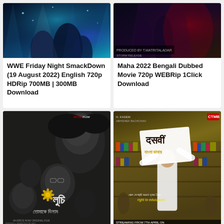[Figure (photo): WWE Friday Night SmackDown movie poster – dark blue/cyan stage lighting with wrestlers]
WWE Friday Night SmackDown (19 August 2022) English 720p HDRip 700MB | 300MB Download
[Figure (photo): Maha 2022 Bengali Dubbed Movie poster – dark dramatic tones with figures]
Maha 2022 Bengali Dubbed Movie 720p WEBRip 1Click Download
[Figure (photo): Luchi movie poster (Eros Now) – black and white Bengali dramatic film with faces of cast]
[Figure (photo): Dasvi movie poster – man in white kurta in library with Bengali Dubbed branding, streaming on Netflix from 7th April]